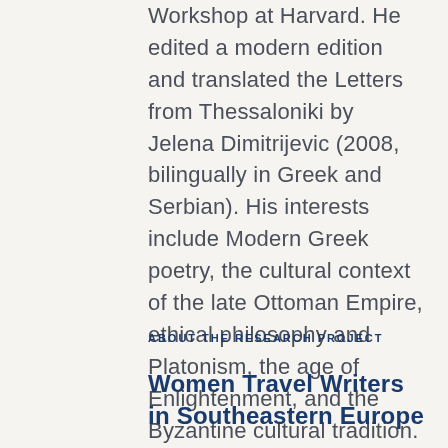Translation and Performance Workshop at Harvard. He edited a modern edition and translated the Letters from Thessaloniki by Jelena Dimitrijevic (2008, bilingually in Greek and Serbian). His interests include Modern Greek poetry, the cultural context of the late Ottoman Empire, ethical philosophy and Platonism, the age of Enlightenment, and the Byzantine cultural tradition.
ABOUT THE RESEARCH PROJECT
Women Travel Writers in Southeastern Europe